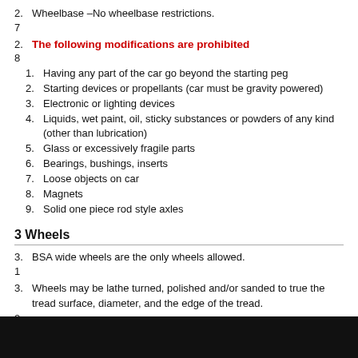2.	7	Wheelbase –No wheelbase restrictions.
2. 8  The following modifications are prohibited
1. Having any part of the car go beyond the starting peg
2. Starting devices or propellants (car must be gravity powered)
3. Electronic or lighting devices
4. Liquids, wet paint, oil, sticky substances or powders of any kind (other than lubrication)
5. Glass or excessively fragile parts
6. Bearings, bushings, inserts
7. Loose objects on car
8. Magnets
9. Solid one piece rod style axles
3 Wheels
3. 1  BSA wide wheels are the only wheels allowed.
3. 2  Wheels may be lathe turned, polished and/or sanded to true the tread surface, diameter, and the edge of the tread.
3. 3  Some of the decorative markings at the edge of the tread area must remain visible around the entire circumference of the wheel.